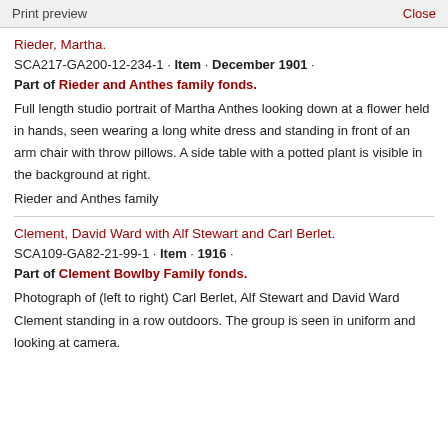Print preview   Close
Rieder, Martha.
SCA217-GA200-12-234-1 · Item · December 1901 ·
Part of Rieder and Anthes family fonds.
Full length studio portrait of Martha Anthes looking down at a flower held in hands, seen wearing a long white dress and standing in front of an arm chair with throw pillows. A side table with a potted plant is visible in the background at right.
Rieder and Anthes family
Clement, David Ward with Alf Stewart and Carl Berlet.
SCA109-GA82-21-99-1 · Item · 1916 ·
Part of Clement Bowlby Family fonds.
Photograph of (left to right) Carl Berlet, Alf Stewart and David Ward Clement standing in a row outdoors. The group is seen in uniform and looking at camera.